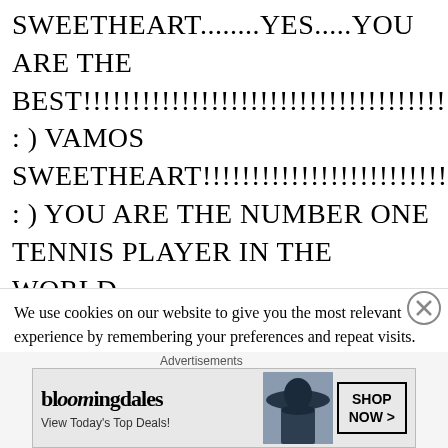SWEETHEART........YES.....YOU ARE THE BEST!!!!!!!!!!!!!!!!!!!!!!!!!!!!!!!!!!!!!!!!!!!!!!!!!!!!!!!!!!
: ) VAMOS SWEETHEART!!!!!!!!!!!!!!!!!!!!!!!!!!!!!!!!!!!!!!!!!!!!!!
: ) YOU ARE THE NUMBER ONE TENNIS PLAYER IN THE WORLD
!!!!!!!!!!!!!!!!!!!!!!!!!!!!!!!!!!!!!!!!!!!!!!!!!!!!!!!!!!!!!!!!
: ) : ) : ) : ): ) : ) : ) SUCH CLASSY, SHEER
We use cookies on our website to give you the most relevant experience by remembering your preferences and repeat visits. By clicking “Accept”, you consent to the use of ALL the cookies.
Do not sell my personal information
[Figure (infographic): Bloomingdale's advertisement banner: bloomingdales logo, 'View Today's Top Deals!' tagline, woman with large hat image, 'SHOP NOW >' button]